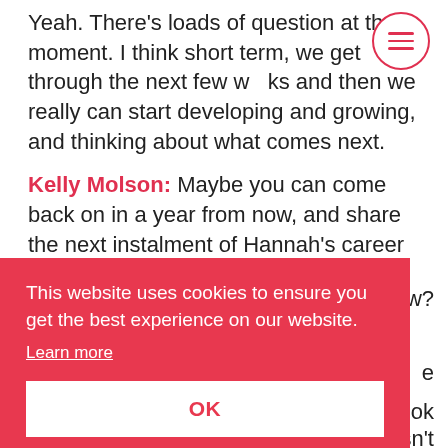Yeah. There's loads of question at the moment. I think short term, we get through the next few weeks and then we really can start developing and growing, and thinking about what comes next.
Kelly Molson: Maybe you can come back on in a year from now, and share the next instalment of Hannah's career progression and crazy life that's going on up in Cheshire. That'd be awesome.
[Figure (other): Hamburger menu icon inside a circle, outlined in red/pink]
ow?
e
book
isn't
sitting in that lovely stack that's next to your bed
This website uses cookies to ensure you get the best experience on our website.
Learn more
OK